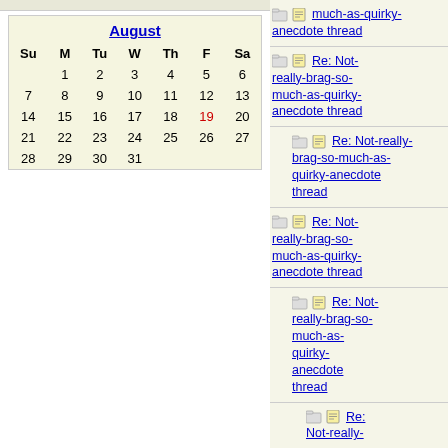| Su | M | Tu | W | Th | F | Sa |
| --- | --- | --- | --- | --- | --- | --- |
|  | 1 | 2 | 3 | 4 | 5 | 6 |
| 7 | 8 | 9 | 10 | 11 | 12 | 13 |
| 14 | 15 | 16 | 17 | 18 | 19 | 20 |
| 21 | 22 | 23 | 24 | 25 | 26 | 27 |
| 28 | 29 | 30 | 31 |  |  |  |
Re: Not-really-brag-so-much-as-quirky-anecdote thread — luvmycle...
Re: Not-really-brag-so-much-as-quirky-anecdote thread — doubtfulg...
Re: Not-really-brag-so-much-as-quirky-anecdote thread — deacongi...
Re: Not-really-brag-so-much-as-quirky-anecdote thread — doubtfulg...
Re: Not-really-brag-so-much-as-quirky-anecdote thread — deacongi...
Re: Not-really-brag-so-much-as-quirky-anecdote thread